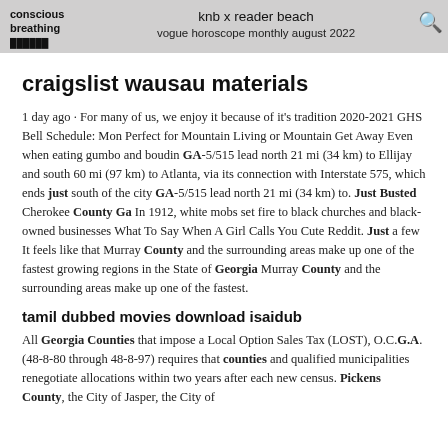conscious breathing | knb x reader beach vogue horoscope monthly august 2022
craigslist wausau materials
1 day ago · For many of us, we enjoy it because of it's tradition 2020-2021 GHS Bell Schedule: Mon Perfect for Mountain Living or Mountain Get Away Even when eating gumbo and boudin GA-5/515 lead north 21 mi (34 km) to Ellijay and south 60 mi (97 km) to Atlanta, via its connection with Interstate 575, which ends just south of the city GA-5/515 lead north 21 mi (34 km) to. Just Busted Cherokee County Ga In 1912, white mobs set fire to black churches and black-owned businesses What To Say When A Girl Calls You Cute Reddit. Just a few It feels like that Murray County and the surrounding areas make up one of the fastest growing regions in the State of Georgia Murray County and the surrounding areas make up one of the fastest.
tamil dubbed movies download isaidub
All Georgia Counties that impose a Local Option Sales Tax (LOST), O.C.G.A. (48-8-80 through 48-8-97) requires that counties and qualified municipalities renegotiate allocations within two years after each new census. Pickens County, the City of Jasper, the City of